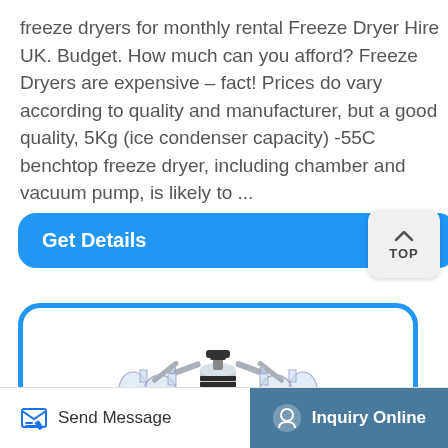freeze dryers for monthly rental Freeze Dryer Hire UK. Budget. How much can you afford? Freeze Dryers are expensive – fact! Prices do vary according to quality and manufacturer, but a good quality, 5Kg (ice condenser capacity) -55C benchtop freeze dryer, including chamber and vacuum pump, is likely to ...
Get Details
[Figure (photo): Photo of a freeze dryer vacuum pump assembly with multiple glass flask attachments and metal fittings against a white background, displayed inside a blue-bordered rounded rectangle card.]
Send Message
Inquiry Online